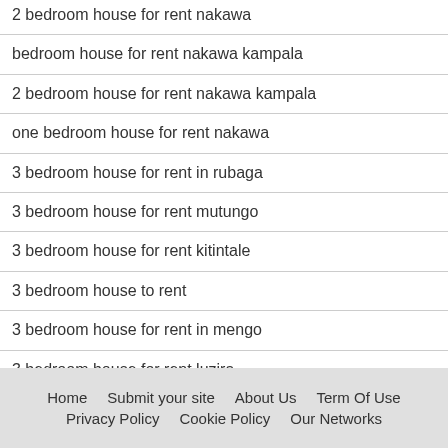2 bedroom house for rent nakawa
bedroom house for rent nakawa kampala
2 bedroom house for rent nakawa kampala
one bedroom house for rent nakawa
3 bedroom house for rent in rubaga
3 bedroom house for rent mutungo
3 bedroom house for rent kitintale
3 bedroom house to rent
3 bedroom house for rent in mengo
3 bedroom house for rent luzira
3 bedroom house for rent rubaga
Home    Submit your site    About Us    Term Of Use    Privacy Policy    Cookie Policy    Our Networks